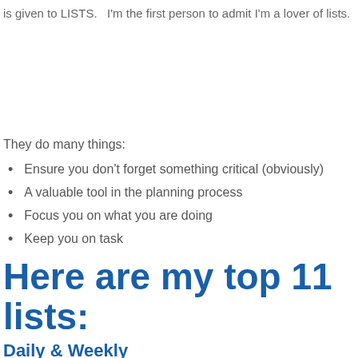is given to LISTS.   I'm the first person to admit I'm a lover of lists.
They do many things:
Ensure you don't forget something critical (obviously)
A valuable tool in the planning process
Focus you on what you are doing
Keep you on task
Here are my top 11 lists:
Daily & Weekly